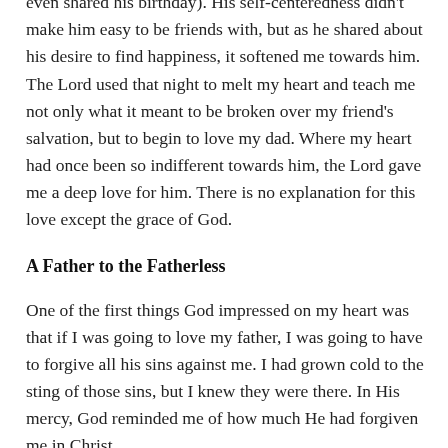in many ways my new friend was much like my dad (he even shared his birthday). His self-centeredness didn't make him easy to be friends with, but as he shared about his desire to find happiness, it softened me towards him. The Lord used that night to melt my heart and teach me not only what it meant to be broken over my friend's salvation, but to begin to love my dad. Where my heart had once been so indifferent towards him, the Lord gave me a deep love for him. There is no explanation for this love except the grace of God.
A Father to the Fatherless
One of the first things God impressed on my heart was that if I was going to love my father, I was going to have to forgive all his sins against me. I had grown cold to the sting of those sins, but I knew they were there. In His mercy, God reminded me of how much He had forgiven me in Christ.
It was through this that God gave me grace to extend